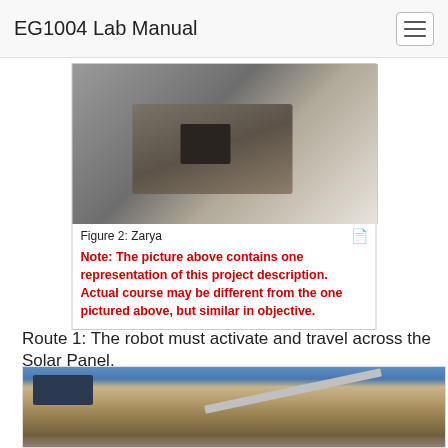EG1004 Lab Manual
[Figure (photo): Photo of Zarya robot on a course surface, overhead view showing a box-like structure with foam padding and wooden elements]
Figure 2: Zarya
Note: The picture above contains one representation of this project description. Actual course may be different from the one pictured above, but similar in objective.
Route 1: The robot must activate and travel across the Solar Panel.
[Figure (photo): Partial photo of a lab setup with blue shelving units, wooden platforms, and angled metal rails suggesting a solar panel course for a robot]